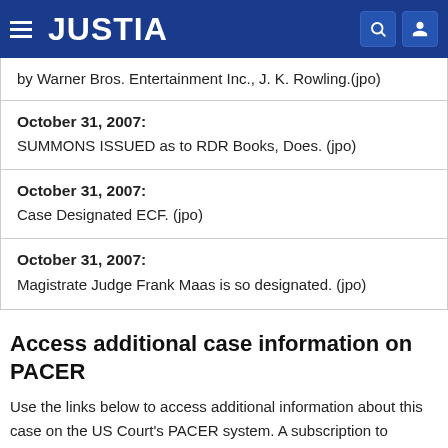JUSTIA
by Warner Bros. Entertainment Inc., J. K. Rowling.(jpo)
| October 31, 2007: | SUMMONS ISSUED as to RDR Books, Does. (jpo) |
| October 31, 2007: | Case Designated ECF. (jpo) |
| October 31, 2007: | Magistrate Judge Frank Maas is so designated. (jpo) |
Access additional case information on PACER
Use the links below to access additional information about this case on the US Court's PACER system. A subscription to PACER is required.